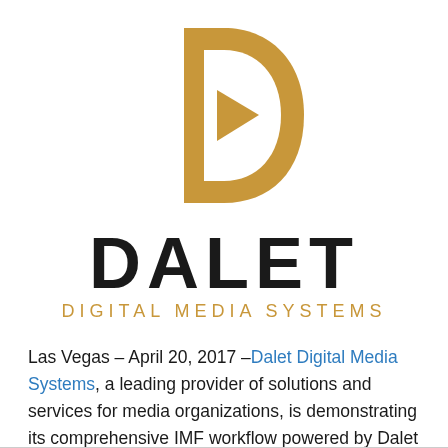[Figure (logo): Dalet Digital Media Systems logo: orange D-shape with play button triangle inside, above bold black DALET text, with orange DIGITAL MEDIA SYSTEMS subtitle]
Las Vegas – April 20, 2017 –Dalet Digital Media Systems, a leading provider of solutions and services for media organizations, is demonstrating its comprehensive IMF workflow powered by Dalet Galaxy at NAB 2017 on booth SL6210. The